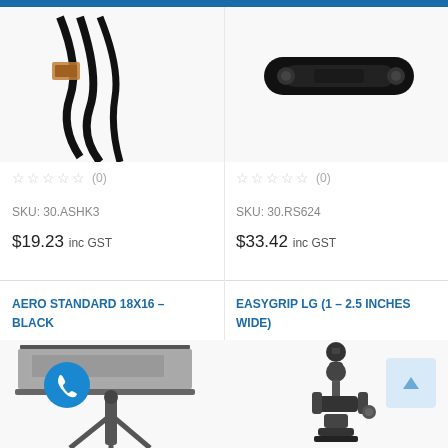[Figure (photo): USB cable coiled, black cables visible from top]
☆☆☆☆☆ (0)
SKU: 30.ASHK3
$19.23 inc GST
[Figure (photo): Black cable management clip/bar product from top]
☆☆☆☆☆ (0)
SKU: 30.RS624
$33.42 inc GST
AERO STANDARD 18X16 – BLACK
[Figure (photo): Laptop tray on tripod stand, Aero Standard 18x16 Black product]
EASYGRIP LG (1 – 2.5 INCHES WIDE)
[Figure (photo): EasyGrip LG camera mount clamp with ball head, black]